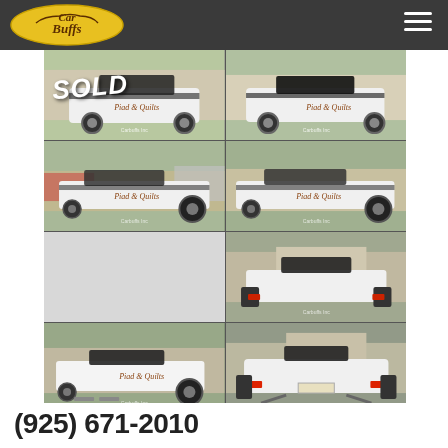[Figure (logo): CarBuffs logo on dark header bar with hamburger menu icon]
[Figure (photo): Grid of 8 photos showing a vintage white drag racing car (Plymouth/Dodge) with custom lettering and drag racing setup, with SOLD watermark overlay on first photo]
(925) 671-2010